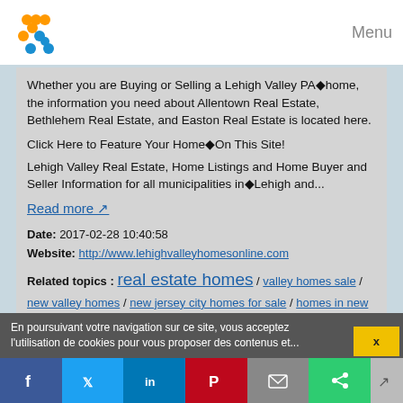Menu
Whether you are Buying or Selling a Lehigh Valley PA◆home, the information you need about Allentown Real Estate, Bethlehem Real Estate, and Easton Real Estate is located here.
Click Here to Feature Your Home◆On This Site!
Lehigh Valley Real Estate, Home Listings and Home Buyer and Seller Information for all municipalities in◆Lehigh and...
Read more
Date: 2017-02-28 10:40:58
Website: http://www.lehighvalleyhomesonline.com
Related topics : real estate homes / valley homes sale / new valley homes / new jersey city homes for sale / homes in new jersey for sale
Holiday Homes for Sale - Flower of May Holiday Parks
En poursuivant votre navigation sur ce site, vous acceptez l'utilisation de cookies pour vous proposer des contenus et...